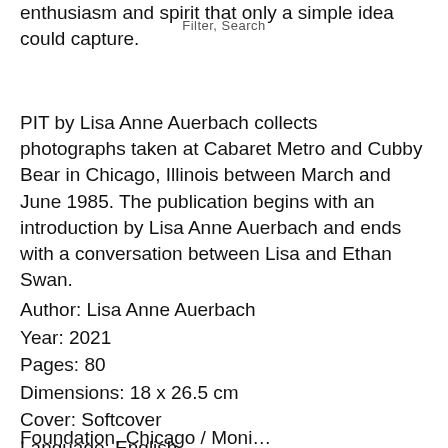Filter, Search
enthusiasm and spirit that only a simple idea could capture.
PIT by Lisa Anne Auerbach collects photographs taken at Cabaret Metro and Cubby Bear in Chicago, Illinois between March and June 1985. The publication begins with an introduction by Lisa Anne Auerbach and ends with a conversation between Lisa and Ethan Swan.
Author: Lisa Anne Auerbach
Year: 2021
Pages: 80
Dimensions: 18 x 26.5 cm
Cover: Softcover
Language: English
Foundation, Chicago / Moni...